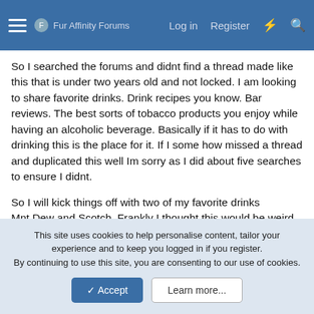Fur Affinity Forums — Log in   Register
So I searched the forums and didnt find a thread made like this that is under two years old and not locked. I am looking to share favorite drinks. Drink recipes you know. Bar reviews. The best sorts of tobacco products you enjoy while having an alcoholic beverage. Basically if it has to do with drinking this is the place for it. If I some how missed a thread and duplicated this well Im sorry as I did about five searches to ensure I didnt.
So I will kick things off with two of my favorite drinks
Mnt Dew and Scotch. Frankly I thought this would be weird but on a buddies advice I went for it and its pretty damn good
An Orange Tic-Tac: one to one and a half shots of Bacardi lemon rum (Depending on glass size) with a the rest of the glass being Dr Pepper. If you mix this just right it tastes like biting into... you guessed it an orange tic-tac.
This site uses cookies to help personalise content, tailor your experience and to keep you logged in if you register.
By continuing to use this site, you are consenting to our use of cookies.